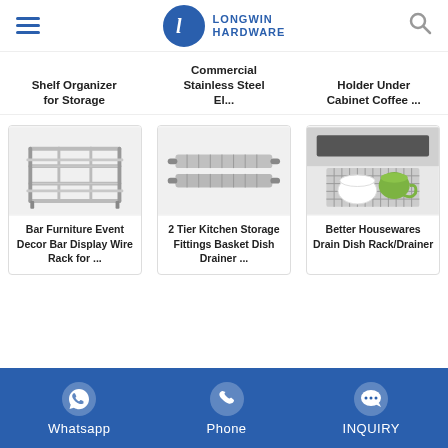Longwin Hardware
Shelf Organizer for Storage | Commercial Stainless Steel El... | Holder Under Cabinet Coffee ...
[Figure (photo): Bar Furniture Event Decor Bar Display Wire Rack - chrome wire rack with two tiers]
[Figure (photo): 2 Tier Kitchen Storage Fittings Basket Dish Drainer - stainless steel wire basket drainer]
[Figure (photo): Better Housewares Drain Dish Rack/Drainer - black grid mat with green cup and white bowl]
Bar Furniture Event Decor Bar Display Wire Rack for ...
2 Tier Kitchen Storage Fittings Basket Dish Drainer ...
Better Housewares Drain Dish Rack/Drainer
Whatsapp | Phone | INQUIRY